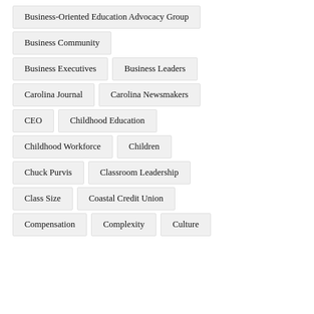Business-Oriented Education Advocacy Group
Business Community
Business Executives
Business Leaders
Carolina Journal
Carolina Newsmakers
CEO
Childhood Education
Childhood Workforce
Children
Chuck Purvis
Classroom Leadership
Class Size
Coastal Credit Union
Compensation
Complexity
Culture